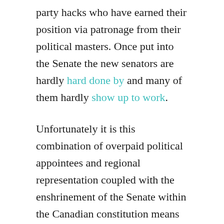party hacks who have earned their position via patronage from their political masters. Once put into the Senate the new senators are hardly hard done by and many of them hardly show up to work.
Unfortunately it is this combination of overpaid political appointees and regional representation coupled with the enshrinement of the Senate within the Canadian constitution means that vested interests prevent a quick and easy solution. Traditionally this leaves the only path forward to be a constitutional amendment to correct the senates flaws. Of course opening the Pandora's box of the Canadian constitution would likely bring up issues from coast to coast to coast ranging from aboriginal land and treaty rights, to Quebec quasi-nationalist tendencies, to the revenue sharing agreements that glue the provinces together. The last